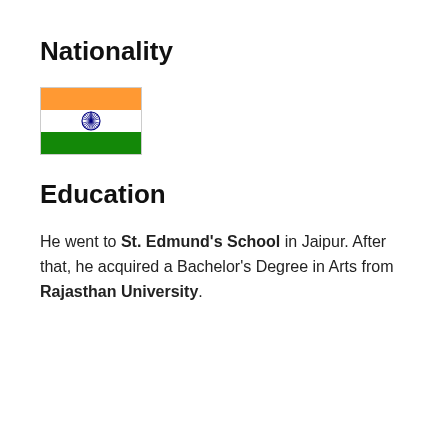Nationality
[Figure (illustration): Indian national flag with three horizontal bands: saffron (top), white (middle with navy blue Ashoka Chakra wheel), and green (bottom)]
Education
He went to St. Edmund's School in Jaipur. After that, he acquired a Bachelor's Degree in Arts from Rajasthan University.